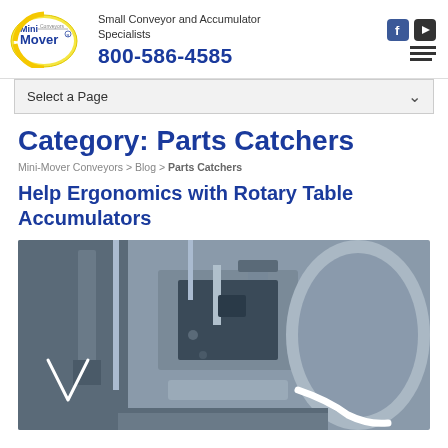[Figure (logo): Mini-Mover Conveyors logo — circular yellow/white emblem with Mini-Mover text and Conveyors wordmark]
Small Conveyor and Accumulator Specialists
800-586-4585
[Figure (other): Facebook and YouTube social media icons; hamburger menu icon]
Select a Page
Category: Parts Catchers
Mini-Mover Conveyors > Blog > Parts Catchers
Help Ergonomics with Rotary Table Accumulators
[Figure (photo): Close-up photograph of a rotary table accumulator machine — grey metal industrial equipment with conveyor belt mechanism, clamps, and cylindrical components]